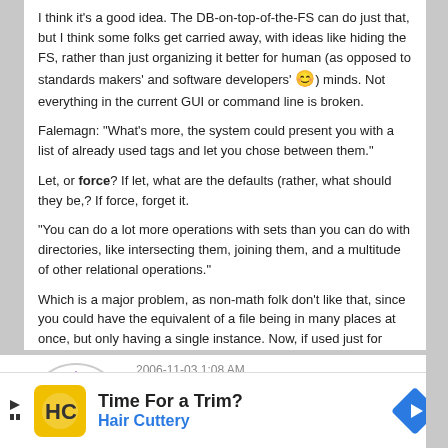I think it's a good idea. The DB-on-top-of-the-FS can do just that, but I think some folks get carried away, with ideas like hiding the FS, rather than just organizing it better for human (as opposed to standards makers' and software developers' 😊) minds. Not everything in the current GUI or command line is broken.
Falemagn: "What's more, the system could present you with a list of already used tags and let you chose between them."
Let, or force? If let, what are the defaults (rather, what should they be,? If force, forget it.
"You can do a lot more operations with sets than you can do with directories, like intersecting them, joining them, and a multitude of other relational operations."
Which is a major problem, as non-math folk don't like that, since you could have the equivalent of a file being in many places at once, but only having a single instance. Now, if used just for searches or other specific sorting scenarios: bring it on!
Edited 2006-11-03 00:41
2006-11-03 1:08 AM
Angel Blue01
[Figure (illustration): Purple/violet geometric avatar with diamond/cross pattern on white circular background]
Symphony OS does away with much of the WIMP metaphor in the Mezzo desktop. No desktop, no menus (except in programs of course).
[Figure (infographic): Advertisement banner: Time For a Trim? Hair Cuttery, with yellow HC logo and blue arrow navigation icon]